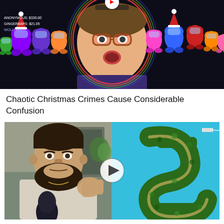[Figure (screenshot): Video thumbnail showing a person with glasses reacting to Among Us game characters, with colorful holiday-themed characters surrounding them]
Chaotic Christmas Crimes Cause Considerable Confusion
[Figure (screenshot): Video thumbnail split into two parts: left shows a bearded man in a white t-shirt gesturing while speaking into a microphone, right shows an aerial view of islands shaped like a dollar sign in turquoise water, with a play button in the center]
"IT'S ALRIGHT WHEN THEY DO IT!": Elites Worst Kept Secret Exposed